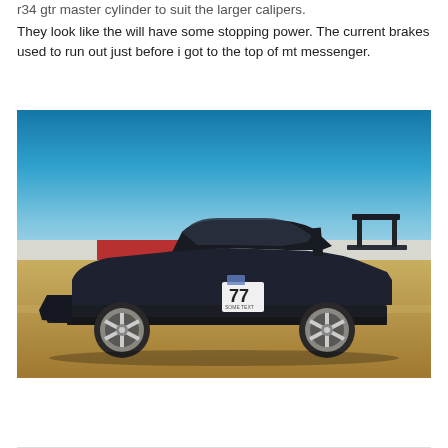r34 gtr master cylinder to suit the larger calipers.
They look like the will have some stopping power. The current brakes used to run out just before i got to the top of mt messenger.
[Figure (photo): A dark blue/black Nissan Skyline R33 GT-R race car with number 77 on the door, photographed on a racetrack with a clear blue sky background and concrete barriers in the background.]